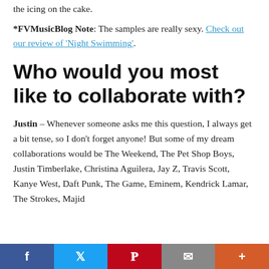the icing on the cake.
*FVMusicBlog Note: The samples are really sexy. Check out our review of 'Night Swimming'.
Who would you most like to collaborate with?
Justin – Whenever someone asks me this question, I always get a bit tense, so I don't forget anyone! But some of my dream collaborations would be The Weekend, The Pet Shop Boys, Justin Timberlake, Christina Aguilera, Jay Z, Travis Scott, Kanye West, Daft Punk, The Game, Eminem, Kendrick Lamar, The Strokes, Majid
Facebook | Twitter | Pinterest | Email | More